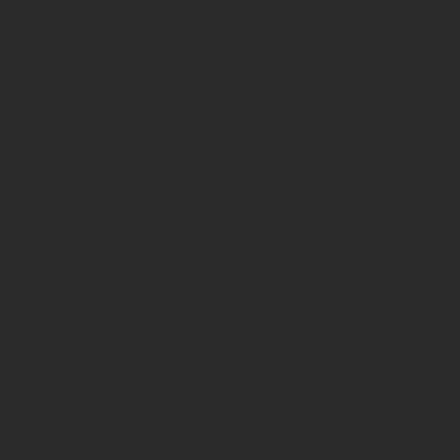Freemасоnic one, that of Edmund Randu lodge, had become Washington's aide-de General, then governor of Virginia and G Washington's presidency, he was to serve States, then the first Secretary of State.
"...There were ultimately five dominant a Washington, Franklin, Randolph, Jefferso active Freemasons, but men who took th subscribed fervently to its ideals, whose e conditioned by it. And Adam's position, th Freemason was virtually identical to their appointed a prominent Freemason, John Court." (1)
From American Masonic History - What A
"Some of the greatest names of the Ame Edmund Burke, John Claypoole, William Paul Jones, Robert Livingston, Paul Reve Washington. Of the 56 signers of The De Masons and seven others exhibited stron signers of the Constitution, nine were kno membership, and six more later became "There were many other Masonic influenc French liaison to the Colonies, without wh